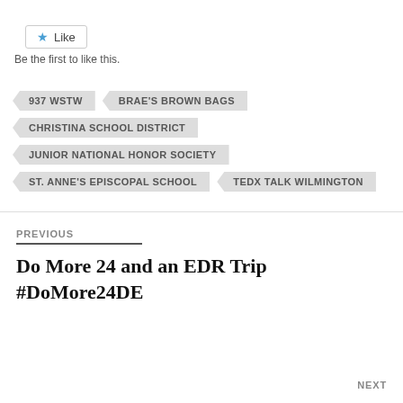[Figure (other): Like button with star icon]
Be the first to like this.
937 WSTW
BRAE'S BROWN BAGS
CHRISTINA SCHOOL DISTRICT
JUNIOR NATIONAL HONOR SOCIETY
ST. ANNE'S EPISCOPAL SCHOOL
TEDX TALK WILMINGTON
PREVIOUS
Do More 24 and an EDR Trip #DoMore24DE
NEXT